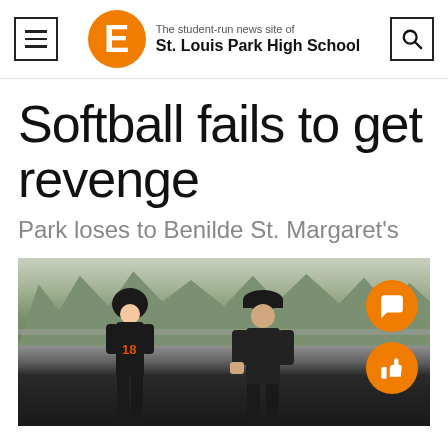The student-run news site of St. Louis Park High School
Softball fails to get revenge
Park loses to Benilde St. Margaret's
[Figure (photo): A softball player in a black uniform fist-bumping a coach on a field]